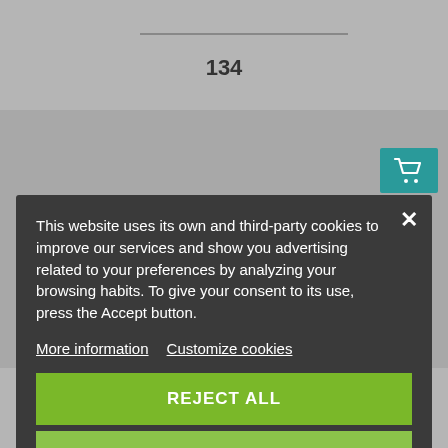134
[Figure (screenshot): Shopping cart icon button in teal/dark cyan color]
This website uses its own and third-party cookies to improve our services and show you advertising related to your preferences by analyzing your browsing habits. To give your consent to its use, press the Accept button.
More information   Customize cookies
REJECT ALL
I ACCEPT
Compare
Left
Top